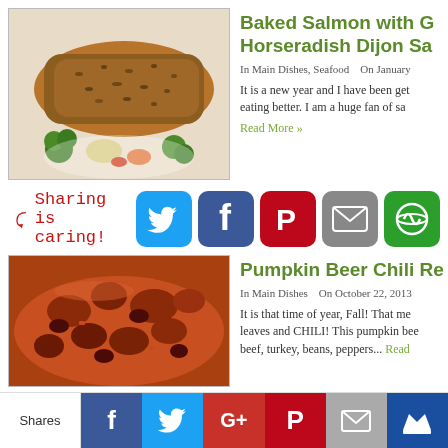[Figure (photo): Baked salmon fillet with herbs on a bed of mixed vegetables including broccoli, carrots, and potatoes]
Baked Salmon with G... Horseradish Dijon Sa...
In Main Dishes, Seafood   On January ...
It is a new year and I have been get... eating better. I am a huge fan of sa...
Read More »
Sharing is caring!
[Figure (infographic): Social sharing buttons: Twitter (blue), Facebook (dark blue), Pinterest (red), Email (grey), More (green)]
[Figure (photo): Pumpkin beer chili with beans, beef, and vegetables in a red/orange sauce]
Pumpkin Beer Chili Re...
In Main Dishes   On October 22, 2013 ...
It is that time of year, Fall! That me... leaves and CHILI! This pumpkin bee... beef, turkey, beans, peppers... Read...
[Figure (infographic): Bottom sharing bar with Shares label, Facebook, Twitter, Google+, Pinterest, Email, and More buttons]